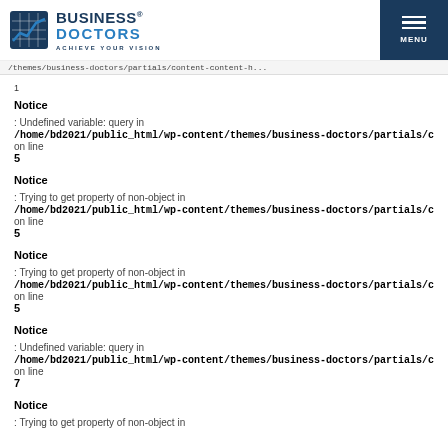[Figure (logo): Business Doctors logo with grid/chart icon and tagline ACHIEVE YOUR VISION]
/themes/business-doctors/partials/content-content-h...
1
Notice
: Undefined variable: query in
/home/bd2021/public_html/wp-content/themes/business-doctors/partials/content-content-h...
on line
5
Notice
: Trying to get property of non-object in
/home/bd2021/public_html/wp-content/themes/business-doctors/partials/content-content-h...
on line
5
Notice
: Trying to get property of non-object in
/home/bd2021/public_html/wp-content/themes/business-doctors/partials/content-content-h...
on line
5
Notice
: Undefined variable: query in
/home/bd2021/public_html/wp-content/themes/business-doctors/partials/content-content-h...
on line
7
Notice
: Trying to get property of non-object in